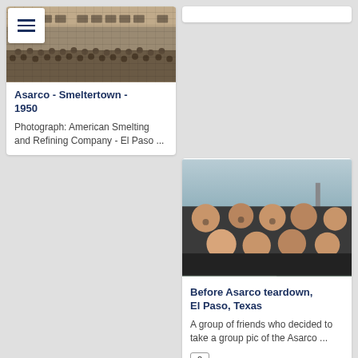[Figure (photo): Historic black and white group photograph of American Smelting and Refining Company workers in front of large industrial building]
Asarco - Smeltertown - 1950
Photograph: American Smelting and Refining Company - El Paso ...
[Figure (photo): Partial top of a white card, cut off at top of page]
[Figure (photo): Modern color photograph of a group of friends posing together outdoors near Asarco site, El Paso Texas]
Before Asarco teardown, El Paso, Texas
A group of friends who decided to take a group pic of the Asarco ...
[Figure (photo): Explosion/demolition photograph showing smoke and debris at mountain site]
[Figure (photo): Night photograph showing Asarco smokestack with light]